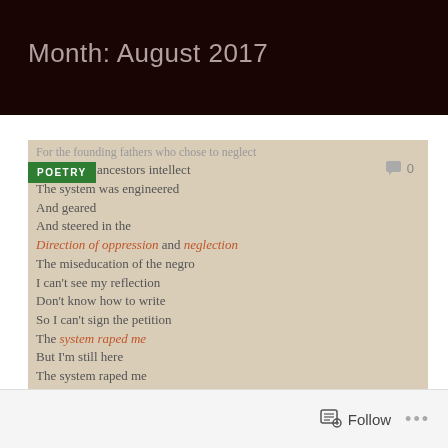Month: August 2017
[Figure (photo): A photograph of a poem printed on beige/tan paper with a green POETRY tag label. The poem text discusses systemic oppression and neglect, with some lines in orange italic text.]
For the founding fathers who chose to neglect
me and my ancestors intellect
The system was engineered
And geared
And steered in the
Direction of oppression and neglection
The miseducation of the negro
I can't see my reflection
Don't know how to write
So I can't sign the petition
The system raped me
But I'm still here
The system raped me
But the ends near
No fear
In the presence of
The oppressor
This system is beneath me
It's lesser
The system killed me
Follow